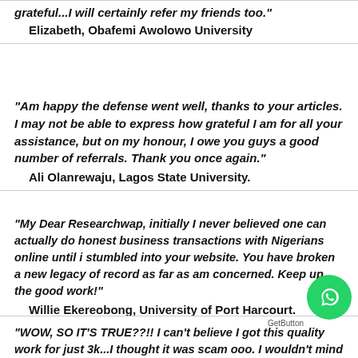grateful...I will certainly refer my friends too."
    Elizabeth, Obafemi Awolowo University
"Am happy the defense went well, thanks to your articles. I may not be able to express how grateful I am for all your assistance, but on my honour, I owe you guys a good number of referrals. Thank you once again."
    Ali Olanrewaju, Lagos State University.
"My Dear Researchwap, initially I never believed one can actually do honest business transactions with Nigerians online until i stumbled into your website. You have broken a new legacy of record as far as am concerned. Keep up the good work!"
    Willie Ekereobong, University of Port Harcourt.
"WOW, SO IT'S TRUE??!! I can't believe I got this quality work for just 3k...I thought it was scam ooo. I wouldn't mind if it goes for over 5k, its worth it.